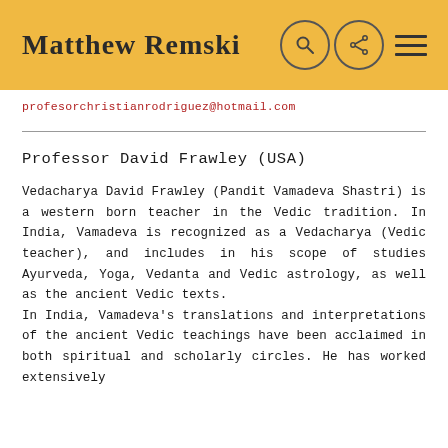Matthew Remski
profesorchristianrodriguez@hotmail.com
Professor David Frawley (USA)
Vedacharya David Frawley (Pandit Vamadeva Shastri) is a western born teacher in the Vedic tradition. In India, Vamadeva is recognized as a Vedacharya (Vedic teacher), and includes in his scope of studies Ayurveda, Yoga, Vedanta and Vedic astrology, as well as the ancient Vedic texts.
In India, Vamadeva's translations and interpretations of the ancient Vedic teachings have been acclaimed in both spiritual and scholarly circles. He has worked extensively